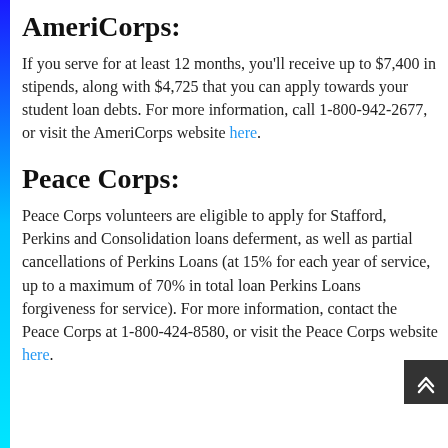AmeriCorps:
If you serve for at least 12 months, you'll receive up to $7,400 in stipends, along with $4,725 that you can apply towards your student loan debts. For more information, call 1-800-942-2677, or visit the AmeriCorps website here.
Peace Corps:
Peace Corps volunteers are eligible to apply for Stafford, Perkins and Consolidation loans deferment, as well as partial cancellations of Perkins Loans (at 15% for each year of service, up to a maximum of 70% in total loan Perkins Loans forgiveness for service). For more information, contact the Peace Corps at 1-800-424-8580, or visit the Peace Corps website here.